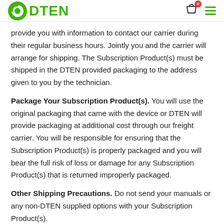DTEN
provide you with information to contact our carrier during their regular business hours. Jointly you and the carrier will arrange for shipping. The Subscription Product(s) must be shipped in the DTEN provided packaging to the address given to you by the technician.
Package Your Subscription Product(s). You will use the original packaging that came with the device or DTEN will provide packaging at additional cost through our freight carrier. You will be responsible for ensuring that the Subscription Product(s) is properly packaged and you will bear the full risk of loss or damage for any Subscription Product(s) that is returned improperly packaged.
Other Shipping Precautions. Do not send your manuals or any non-DTEN supplied options with your Subscription Product(s).